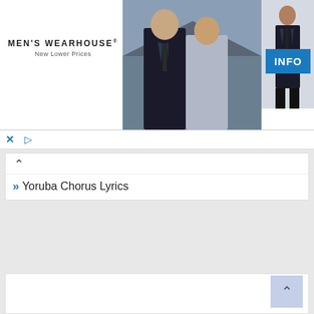[Figure (screenshot): Men's Wearhouse advertisement banner showing a couple in formal wedding attire and a man in a dark suit, with an INFO button on the right]
MEN'S WEARHOUSE® New Lower Prices
INFO
[Figure (screenshot): Ad controls bar with X close button and play button icons in blue]
» Yoruba Chorus Lyrics
[Figure (screenshot): Large empty white content area with a light blue back-to-top arrow button in the bottom right corner]